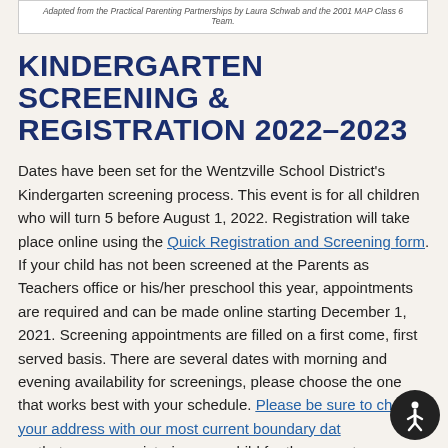Adapted from the Practical Parenting Partnerships by Laura Schwab and the 2001 MAP Class 6 Team.
KINDERGARTEN SCREENING & REGISTRATION 2022–2023
Dates have been set for the Wentzville School District's Kindergarten screening process. This event is for all children who will turn 5 before August 1, 2022. Registration will take place online using the Quick Registration and Screening form. If your child has not been screened at the Parents as Teachers office or his/her preschool this year, appointments are required and can be made online starting December 1, 2021. Screening appointments are filled on a first come, first served basis. There are several dates with morning and evening availability for screenings, please choose the one that works best with your schedule. Please be sure to check your address with our most current boundary data so that you are registering your child for the correct